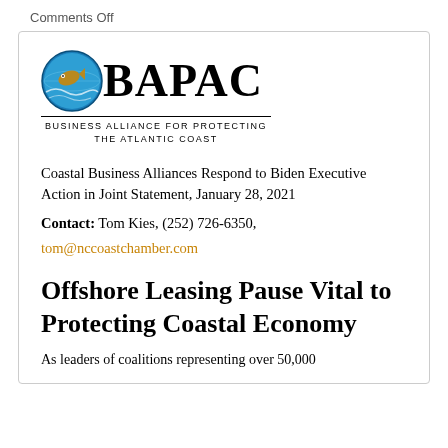Comments Off
[Figure (logo): BAPAC logo — circular globe icon with a fish and wave design, next to large bold text 'BAPAC', with a horizontal rule and subtitle 'Business Alliance for Protecting the Atlantic Coast']
Coastal Business Alliances Respond to Biden Executive Action in Joint Statement, January 28, 2021
Contact: Tom Kies, (252) 726-6350,
tom@nccoastchamber.com
Offshore Leasing Pause Vital to Protecting Coastal Economy
As leaders of coalitions representing over 50,000